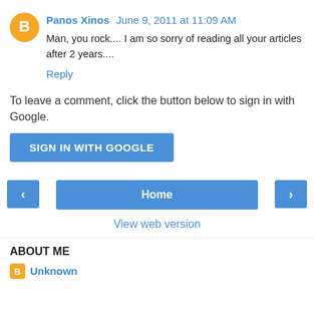Panos Xinos  June 9, 2011 at 11:09 AM
Man, you rock.... I am so sorry of reading all your articles after 2 years....
Reply
To leave a comment, click the button below to sign in with Google.
SIGN IN WITH GOOGLE
Home
View web version
ABOUT ME
Unknown